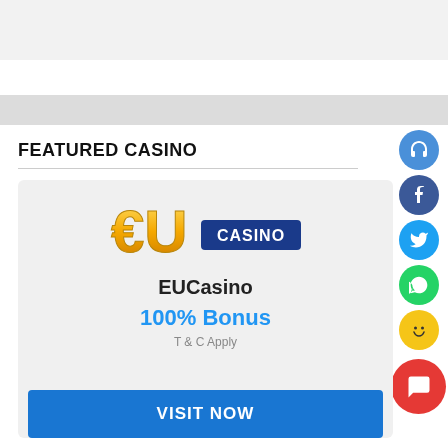[Figure (other): Top grey banner / advertisement placeholder area]
[Figure (other): Grey navigation or tab strip bar]
FEATURED CASINO
[Figure (logo): EUCasino logo — gold EU letters with Euro sign and blue CASINO banner]
EUCasino
100% Bonus
T & C Apply
VISIT NOW